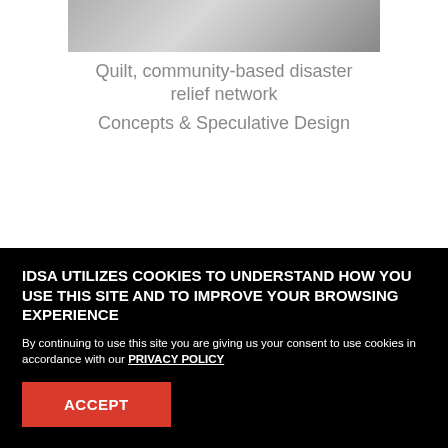[Figure (photo): Partial view of a dark-colored device (appears to be a phone or electronic device) photographed against a white background]
Quilt, community-based disaster relief network
Concepts & Speculative Design
IDSA UTILIZES COOKIES TO UNDERSTAND HOW YOU USE THIS SITE AND TO IMPROVE YOUR BROWSING EXPERIENCE
By continuing to use this site you are giving us your consent to use cookies in accordance with our PRIVACY POLICY
ACCEPT